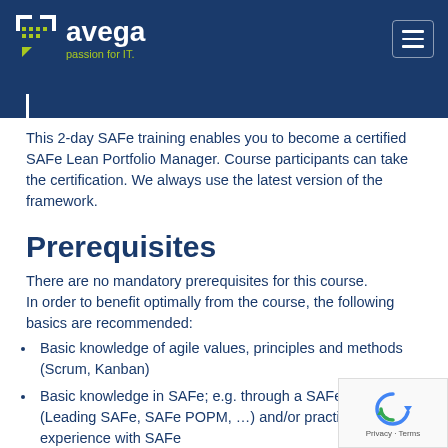navega passion for IT.
This 2-day SAFe training enables you to become a certified SAFe Lean Portfolio Manager. Course participants can take the certification. We always use the latest version of the framework.
Prerequisites
There are no mandatory prerequisites for this course. In order to benefit optimally from the course, the following basics are recommended:
Basic knowledge of agile values, principles and methods (Scrum, Kanban)
Basic knowledge in SAFe; e.g. through a SAFe course (Leading SAFe, SAFe POPM, …) and/or practical experience with SAFe